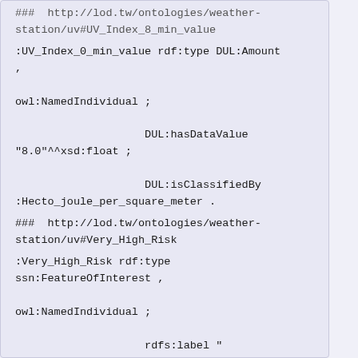###  http://lod.tw/ontologies/weather-station/uv#UV_Index_8_min_value
:UV_Index_0_min_value rdf:type DUL:Amount ,

 owl:NamedIndividual ;

                    DUL:hasDataValue "8.0"^^xsd:float ;

                    DUL:isClassifiedBy :Hecto_joule_per_square_meter .
###  http://lod.tw/ontologies/weather-station/uv#Very_High_Risk
:Very_High_Risk rdf:type ssn:FeatureOfInterest ,

 owl:NamedIndividual ;

                    rdfs:label "
 "^^xsd:string ;